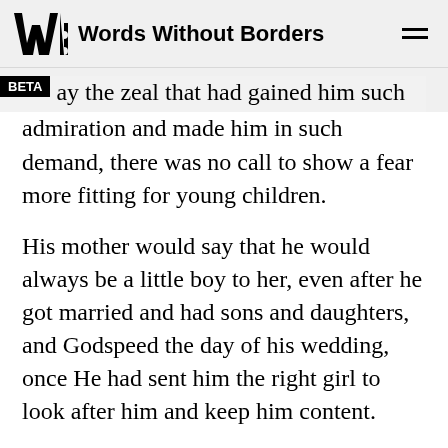Words Without Borders
ay the zeal that had gained him such admiration and made him in such demand, there was no call to show a fear more fitting for young children.
His mother would say that he would always be a little boy to her, even after he got married and had sons and daughters, and Godspeed the day of his wedding, once He had sent him the right girl to look after him and keep him content.
Only once did she say that his long silence worried her.
It never occurred to those who saw him climb